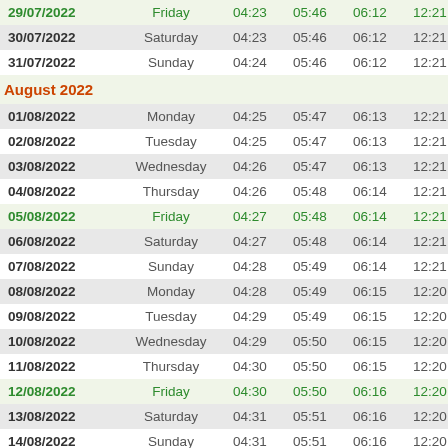| Date | Day | T1 | T2 | T3 | T4 |  |
| --- | --- | --- | --- | --- | --- | --- |
| 29/07/2022 | Friday | 04:23 | 05:46 | 06:12 | 12:21 | 1 |
| 30/07/2022 | Saturday | 04:23 | 05:46 | 06:12 | 12:21 | 1 |
| 31/07/2022 | Sunday | 04:24 | 05:46 | 06:12 | 12:21 | 1 |
| August 2022 |  |  |  |  |  |  |
| 01/08/2022 | Monday | 04:25 | 05:47 | 06:13 | 12:21 | 1 |
| 02/08/2022 | Tuesday | 04:25 | 05:47 | 06:13 | 12:21 | 1 |
| 03/08/2022 | Wednesday | 04:26 | 05:47 | 06:13 | 12:21 | 1 |
| 04/08/2022 | Thursday | 04:26 | 05:48 | 06:14 | 12:21 | 1 |
| 05/08/2022 | Friday | 04:27 | 05:48 | 06:14 | 12:21 | 1 |
| 06/08/2022 | Saturday | 04:27 | 05:48 | 06:14 | 12:21 | 1 |
| 07/08/2022 | Sunday | 04:28 | 05:49 | 06:14 | 12:21 | 1 |
| 08/08/2022 | Monday | 04:28 | 05:49 | 06:15 | 12:20 | 1 |
| 09/08/2022 | Tuesday | 04:29 | 05:49 | 06:15 | 12:20 | 1 |
| 10/08/2022 | Wednesday | 04:29 | 05:50 | 06:15 | 12:20 | 1 |
| 11/08/2022 | Thursday | 04:30 | 05:50 | 06:15 | 12:20 | 1 |
| 12/08/2022 | Friday | 04:30 | 05:50 | 06:16 | 12:20 | 1 |
| 13/08/2022 | Saturday | 04:31 | 05:51 | 06:16 | 12:20 | 1 |
| 14/08/2022 | Sunday | 04:31 | 05:51 | 06:16 | 12:20 | 1 |